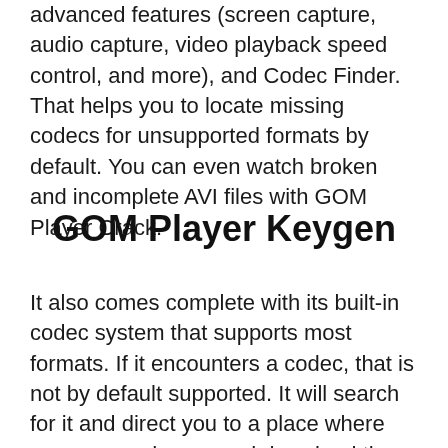advanced features (screen capture, audio capture, video playback speed control, and more), and Codec Finder. That helps you to locate missing codecs for unsupported formats by default. You can even watch broken and incomplete AVI files with GOM Player Crack.
GOM Player Keygen
It also comes complete with its built-in codec system that supports most formats. If it encounters a codec, that is not by default supported. It will search for it and direct you to a place where you can read more and download the missing codec via the player's Codec Finder service.